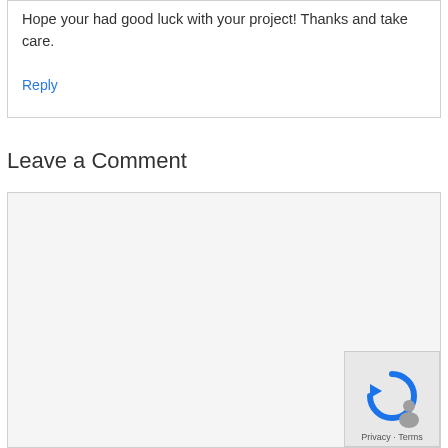Hope your had good luck with your project! Thanks and take care.
Reply
Leave a Comment
[Figure (screenshot): Empty comment textarea input box with light gray background]